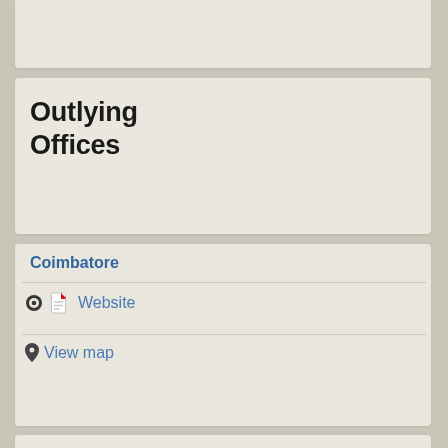Outlying Offices
Coimbatore
Website
View map
Giridih
Website
View map
Hyderabad